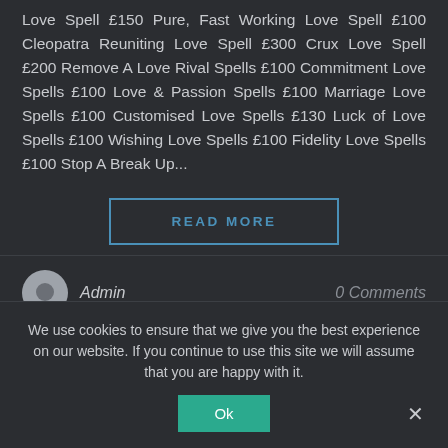Love Spell £150 Pure, Fast Working Love Spell £100 Cleopatra Reuniting Love Spell £300 Crux Love Spell £200 Remove A Love Rival Spells £100 Commitment Love Spells £100 Love & Passion Spells £100 Marriage Love Spells £100 Customised Love Spells £130 Luck of Love Spells £100 Wishing Love Spells £100 Fidelity Love Spells £100 Stop A Break Up...
READ MORE
Admin
0 Comments
We use cookies to ensure that we give you the best experience on our website. If you continue to use this site we will assume that you are happy with it.